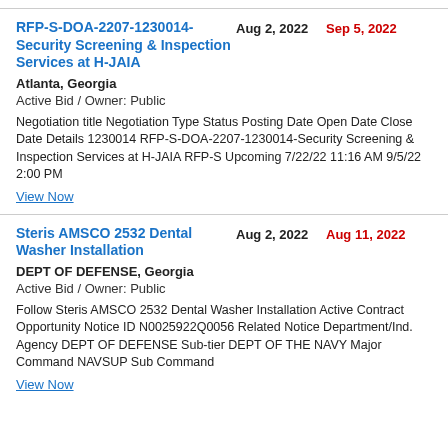RFP-S-DOA-2207-1230014-Security Screening & Inspection Services at H-JAIA
Aug 2, 2022
Sep 5, 2022
Atlanta, Georgia
Active Bid / Owner: Public
Negotiation title Negotiation Type Status Posting Date Open Date Close Date Details 1230014 RFP-S-DOA-2207-1230014-Security Screening & Inspection Services at H-JAIA RFP-S Upcoming 7/22/22 11:16 AM 9/5/22 2:00 PM
View Now
Steris AMSCO 2532 Dental Washer Installation
Aug 2, 2022
Aug 11, 2022
DEPT OF DEFENSE, Georgia
Active Bid / Owner: Public
Follow Steris AMSCO 2532 Dental Washer Installation Active Contract Opportunity Notice ID N0025922Q0056 Related Notice Department/Ind. Agency DEPT OF DEFENSE Sub-tier DEPT OF THE NAVY Major Command NAVSUP Sub Command
View Now